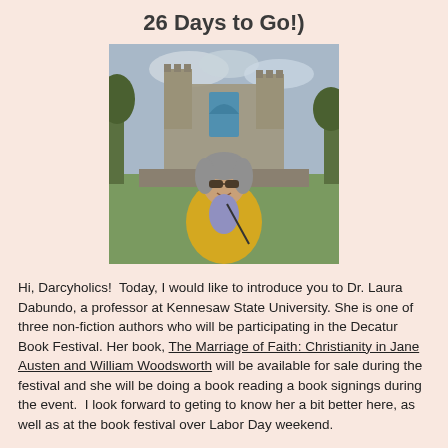26 Days to Go!)
[Figure (photo): Woman in yellow jacket standing in front of a ruined stone castle/abbey, wearing sunglasses, with green fields and trees in background.]
Hi, Darcyholics!  Today, I would like to introduce you to Dr. Laura Dabundo, a professor at Kennesaw State University. She is one of three non-fiction authors who will be participating in the Decatur Book Festival. Her book, The Marriage of Faith: Christianity in Jane Austen and William Woodsworth will be available for sale during the festival and she will be doing a book reading a book signings during the event.  I look forward to geting to know her a bit better here, as well as at the book festival over Labor Day weekend.